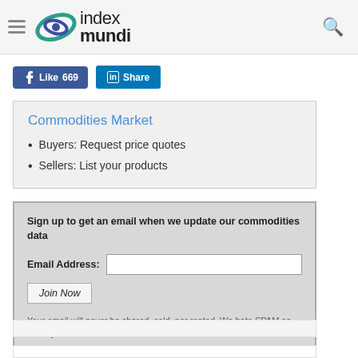index mundi
[Figure (logo): Index Mundi logo with orbital ellipse graphic in teal/blue, text 'index mundi']
Like 669   Share
Commodities Market
Buyers: Request price quotes
Sellers: List your products
Sign up to get an email when we update our commodities data
Email Address:
Join Now
Your email will never be shared, sold, nor rented. We hate SPAM as much you do.